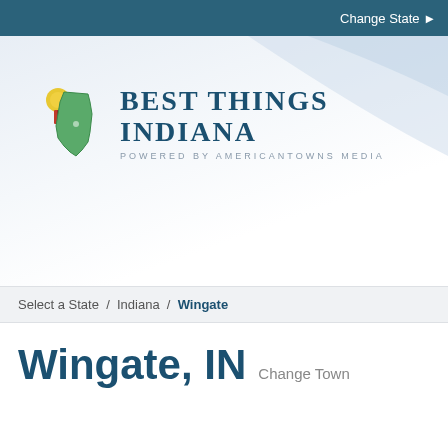Change State ▶
[Figure (logo): Best Things Indiana logo — Indiana state outline in green with a yellow ribbon/medal, beside text 'Best Things Indiana' and 'Powered by AmericanTowns Media']
Select a State  /  Indiana  /  Wingate
Wingate, IN  Change Town